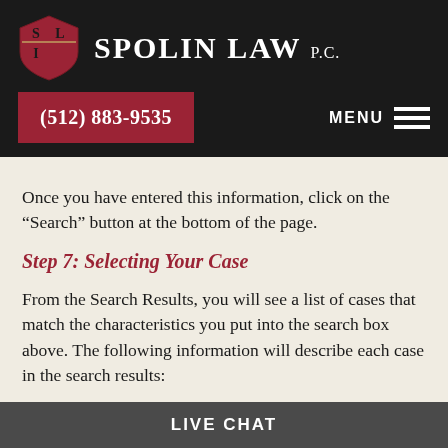Spolin Law P.C. — (512) 883-9535 — MENU
Once you have entered this information, click on the “Search” button at the bottom of the page.
Step 7: Selecting Your Case
From the Search Results, you will see a list of cases that match the characteristics you put into the search box above. The following information will describe each case in the search results:
LIVE CHAT